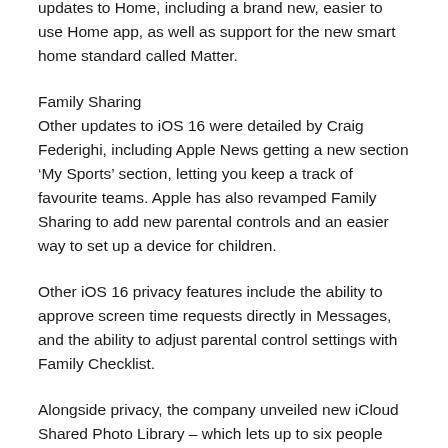updates to Home, including a brand new, easier to use Home app, as well as support for the new smart home standard called Matter.
Family Sharing
Other updates to iOS 16 were detailed by Craig Federighi, including Apple News getting a new section ‘My Sports’ section, letting you keep a track of favourite teams. Apple has also revamped Family Sharing to add new parental controls and an easier way to set up a device for children.
Other iOS 16 privacy features include the ability to approve screen time requests directly in Messages, and the ability to adjust parental control settings with Family Checklist.
Alongside privacy, the company unveiled new iCloud Shared Photo Library – which lets up to six people participate, with smart upload filters to share only